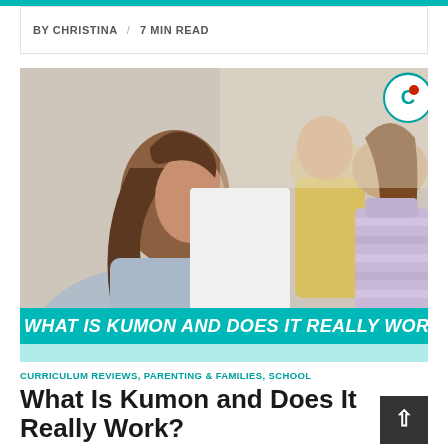BY CHRISTINA / 7 MIN READ
[Figure (photo): A woman (teacher/tutor) in profile view on the left, holding or reviewing a white folder/paper, with two children visible in the background — one in a yellow top and one in a pink/lavender striped turtleneck. A circular logo with a teal 'C' and red heart detail is visible in the top-right corner of the image. A teal banner reading 'WHAT IS KUMON AND DOES IT REALLY WORK' overlays the bottom of the photo.]
CURRICULUM REVIEWS, PARENTING & FAMILIES, SCHOOL
What Is Kumon and Does It Really Work?